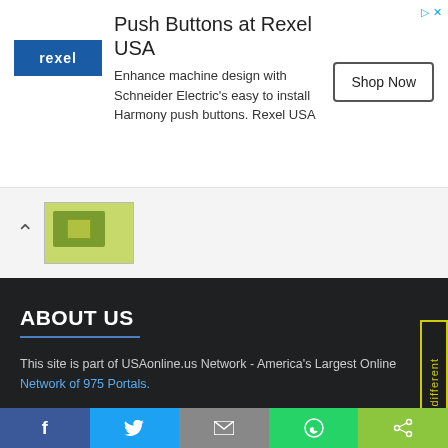[Figure (other): Rexel USA advertisement banner: Push Buttons at Rexel USA, with Rexel logo, description text about Schneider Electric Harmony push buttons, and Shop Now button]
[Figure (photo): Thumbnail image of a green circuit board/electronic component with upward chevron navigation arrow]
ABOUT US
This site is part of USAonline.us Network - America's Largest Online Network of 975 Portals.
READ MORE ABOUT HOUSTONONLINE.US
ALL ABOUT EDUCATION IN USA
[Figure (other): Vertical sidebar tag reading 'We are different' in yellow on dark background with yellow border]
USEFUL LINKS
[Figure (other): Social share bar with Facebook, Twitter, Email, WhatsApp, and share buttons]